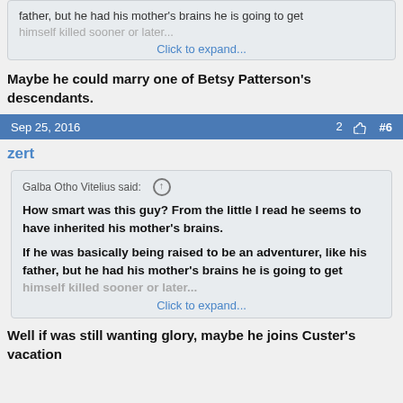father, but he had his mother's brains he is going to get himself killed sooner or later...
Click to expand...
Maybe he could marry one of Betsy Patterson's descendants.
Sep 25, 2016   2 👍  #6
zert
Galba Otho Vitelius said:
How smart was this guy? From the little I read he seems to have inherited his mother's brains.
If he was basically being raised to be an adventurer, like his father, but he had his mother's brains he is going to get himself killed sooner or later...
Click to expand...
Well if was still wanting glory, maybe he joins Custer's vacation trip to MT&...